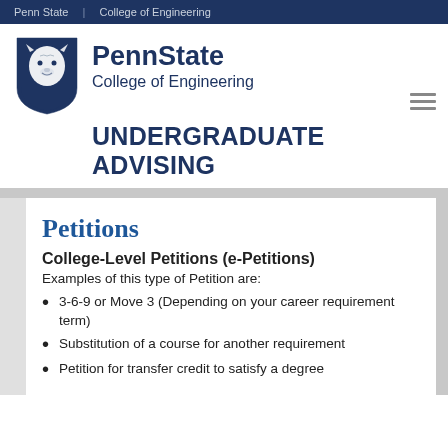Penn State  |  College of Engineering
[Figure (logo): Penn State shield logo with nittany lion, blue shield]
PennState College of Engineering
UNDERGRADUATE ADVISING
Petitions
College-Level Petitions (e-Petitions)
Examples of this type of Petition are:
3-6-9 or Move 3 (Depending on your career requirement term)
Substitution of a course for another requirement
Petition for transfer credit to satisfy a degree